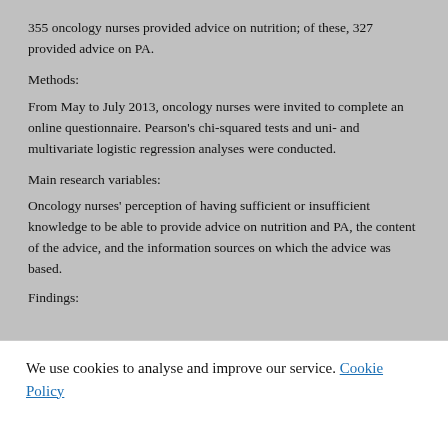355 oncology nurses provided advice on nutrition; of these, 327 provided advice on PA.
Methods:
From May to July 2013, oncology nurses were invited to complete an online questionnaire. Pearson's chi-squared tests and uni- and multivariate logistic regression analyses were conducted.
Main research variables:
Oncology nurses' perception of having sufficient or insufficient knowledge to be able to provide advice on nutrition and PA, the content of the advice, and the information sources on which the advice was based.
Findings:
We use cookies to analyse and improve our service. Cookie Policy